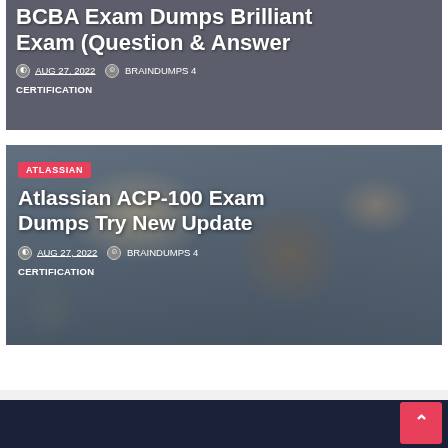BCBA Exam Dumps Brilliant Exam (Question & Answer
AUG 27, 2022  BRAINDUMPS 4 CERTIFICATION
[Figure (photo): Background photo of stacked books with dark overlay, behind BCBA exam card]
[Figure (photo): Photo of two people studying together at a table with bookshelves in background, behind Atlassian ACP-100 card]
Atlassian ACP-100 Exam Dumps Try New Update
AUG 27, 2022  BRAINDUMPS 4 CERTIFICATION